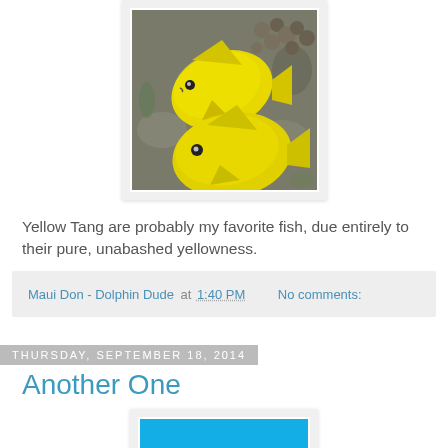[Figure (photo): Two yellow tang fish swimming near coral and rocks underwater]
Yellow Tang are probably my favorite fish, due entirely to their pure, unabashed yellowness.
Maui Don - Dolphin Dude at 1:40 PM   No comments:
Thursday, September 18, 2014
Another One
[Figure (photo): Blue sky with white clouds over ocean horizon]